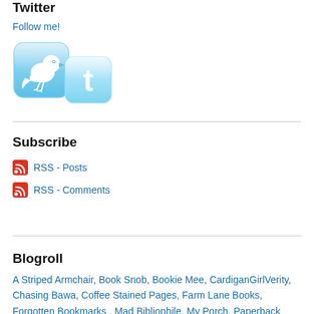Twitter
Follow me!
[Figure (illustration): Two Twitter bird icons side by side with rounded square backgrounds in light blue gradient style]
Subscribe
RSS - Posts
RSS - Comments
Blogroll
A Striped Armchair, Book Snob, Bookie Mee, CardiganGirlVerity, Chasing Bawa, Coffee Stained Pages, Farm Lane Books, Forgotten Bookmarks , Mad Bibliophile, My Porch, Paperback Reader, Reading